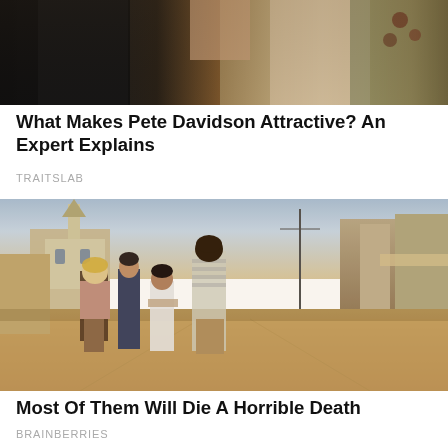[Figure (photo): Top portion of a photo showing a man in a dark suit and a woman in a light embroidered dress, likely at a formal event, with red flowers visible in background]
What Makes Pete Davidson Attractive? An Expert Explains
TRAITSLAB
[Figure (photo): Movie or TV still showing four people standing in a dusty small-town street, with a church steeple and old buildings visible in the background. A blonde woman, a teenage boy, a shorter person, and a tall Black man looking upward.]
Most Of Them Will Die A Horrible Death
BRAINBERRIES